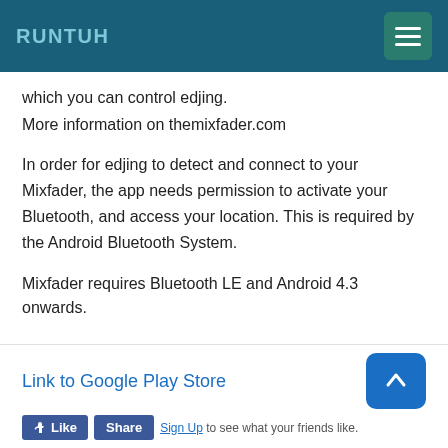RUNTUH
which you can control edjing.
More information on themixfader.com
In order for edjing to detect and connect to your Mixfader, the app needs permission to activate your Bluetooth, and access your location. This is required by the Android Bluetooth System.
Mixfader requires Bluetooth LE and Android 4.3 onwards.
Link to Google Play Store
Sign Up to see what your friends like.